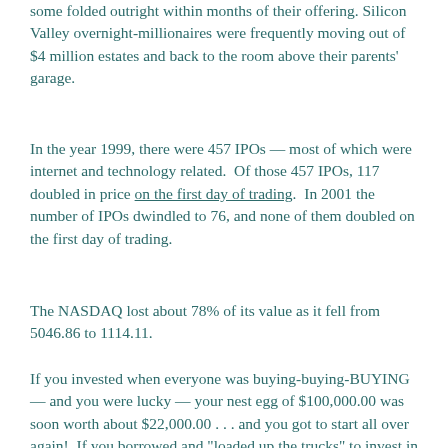some folded outright within months of their offering. Silicon Valley overnight-millionaires were frequently moving out of $4 million estates and back to the room above their parents' garage.
In the year 1999, there were 457 IPOs — most of which were internet and technology related.  Of those 457 IPOs, 117 doubled in price on the first day of trading.  In 2001 the number of IPOs dwindled to 76, and none of them doubled on the first day of trading.
The NASDAQ lost about 78% of its value as it fell from 5046.86 to 1114.11.
If you invested when everyone was buying-buying-BUYING — and you were lucky — your nest egg of $100,000.00 was soon worth about $22,000.00 . . . and you got to start all over again!  If you borrowed and "loaded up the trucks" to invest in the Dot.com Bubble,